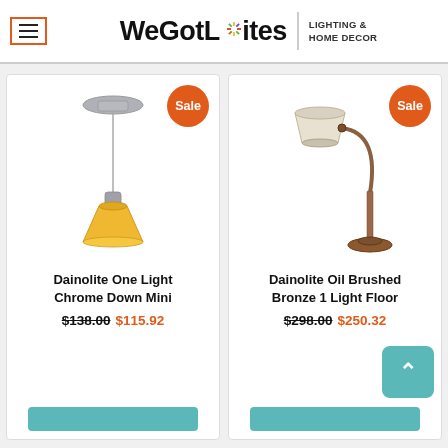WeGotLites LIGHTING & HOME DECOR
[Figure (photo): Dainolite One Light Chrome Down Mini pendant lamp with yellow glass shade, suspended from ceiling mount]
Dainolite One Light Chrome Down Mini
$138.00 $115.92
[Figure (photo): Dainolite Oil Brushed Bronze 1 Light Floor lamp with arched arm and beige shade]
Dainolite Oil Brushed Bronze 1 Light Floor
$298.00 $250.32